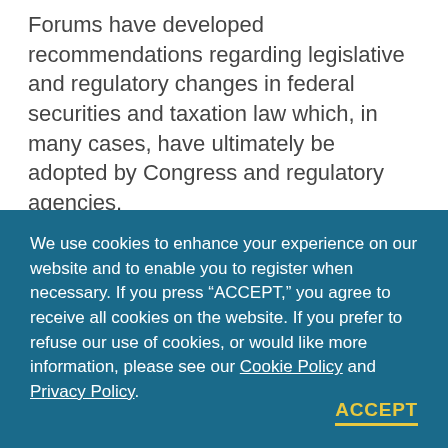Forums have developed recommendations regarding legislative and regulatory changes in federal securities and taxation law which, in many cases, have ultimately be adopted by Congress and regulatory agencies.

The 2007 Forum featured information sharing and discussion on a package of proposed SEC regulatory
We use cookies to enhance your experience on our website and to enable you to register when necessary. If you press “ACCEPT,” you agree to receive all cookies on the website. If you prefer to refuse our use of cookies, or would like more information, please see our Cookie Policy and Privacy Policy.
ACCEPT